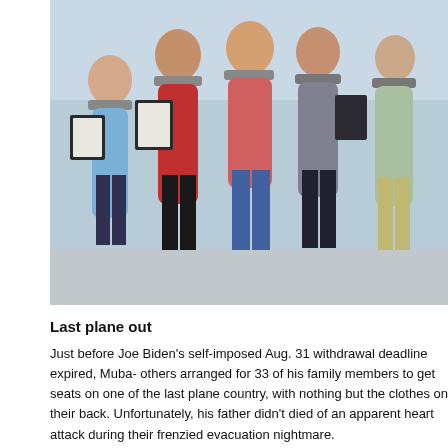[Figure (photo): Group of people standing together outdoors, some holding framed certificates or documents, wearing masks, with a light background.]
Last plane out
Just before Joe Biden's self-imposed Aug. 31 withdrawal deadline expired, Muba- others arranged for 33 of his family members to get seats on one of the last plane country, with nothing but the clothes on their back. Unfortunately, his father didn't died of an apparent heart attack during their frenzied evacuation nightmare.
“My family was in Kabul. They told me it was impossible to get through the crowd and that they wouldn’t be able to make it out. We encouraged them. We told them to stay there,” Mubarak said.
Getting 33 people out of the country required a lot of effort and assistance, from the Army, the Marine Corps, the State Department, Florida Senator Rick Scott ar sources.